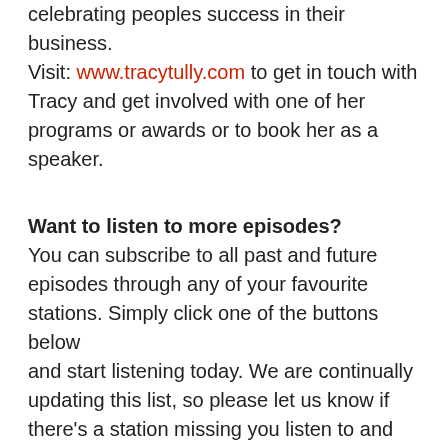Her Innove Awards program is a way of celebrating peoples success in their business. Visit: www.tracytully.com to get in touch with Tracy and get involved with one of her programs or awards or to book her as a speaker.
Want to listen to more episodes?
You can subscribe to all past and future episodes through any of your favourite stations. Simply click one of the buttons below and start listening today. We are continually updating this list, so please let us know if there's a station missing you listen to and we'll do our best to get this added.